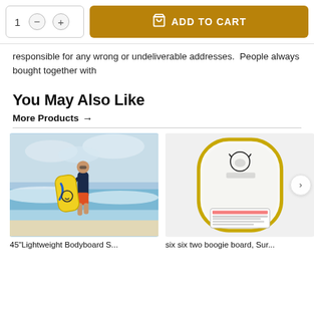responsible for any wrong or undeliverable addresses. People always bought together with
You May Also Like
More Products →
[Figure (photo): Person carrying a yellow bodyboard walking toward ocean waves on a beach]
45"Lightweight Bodyboard S...
[Figure (photo): White and yellow bodyboard with bull logo (six six two brand) showing back side with warning label]
six six two boogie board, Sur...